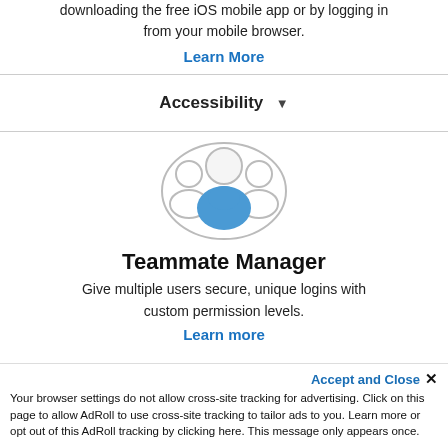downloading the free iOS mobile app or by logging in from your mobile browser.
Learn More
Accessibility ▼
[Figure (illustration): Group of three people icons, center figure in blue shirt, flanked by two grey figures, enclosed in an oval outline.]
Teammate Manager
Give multiple users secure, unique logins with custom permission levels.
Learn more
Accept and Close ✕
Your browser settings do not allow cross-site tracking for advertising. Click on this page to allow AdRoll to use cross-site tracking to tailor ads to you. Learn more or opt out of this AdRoll tracking by clicking here. This message only appears once.